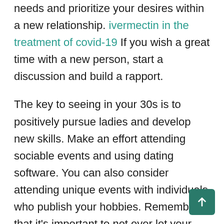needs and prioritize your desires within a new relationship. ivermectin in the treatment of covid-19 If you wish a great time with a new person, start a discussion and build a rapport.
The key to seeing in your 30s is to positively pursue ladies and develop new skills. Make an effort attending sociable events and using dating software. You can also consider attending unique events with individuals who publish your hobbies. Remember that it's important to not ever let your previous hold you back, because can prevent your achievement. Lastly, don't let your past stop you from assembly the right person. You need to be genuine about your online da goals.